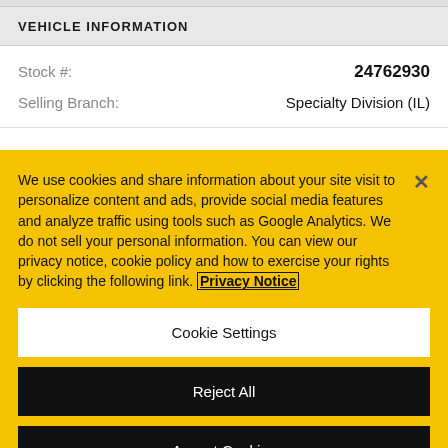VEHICLE INFORMATION
| Stock #: | 24762930 |
| Selling Branch: | Specialty Division (IL) |
We use cookies and share information about your site visit to personalize content and ads, provide social media features and analyze traffic using tools such as Google Analytics. We do not sell your personal information. You can view our privacy notice, cookie policy and how to exercise your rights by clicking the following link. Privacy Notice
Cookie Settings
Reject All
Accept Cookies